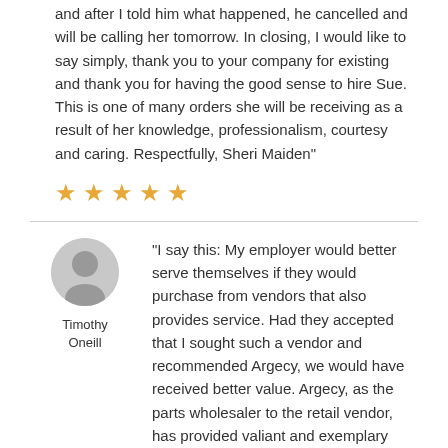and after I told him what happened, he cancelled and will be calling her tomorrow. In closing, I would like to say simply, thank you to your company for existing and thank you for having the good sense to hire Sue. This is one of many orders she will be receiving as a result of her knowledge, professionalism, courtesy and caring. Respectfully, Sheri Maiden"
[Figure (other): Five gold/orange star rating icons]
[Figure (illustration): Generic grey user avatar icon for Timothy Oneill]
Timothy Oneill
“I say this: My employer would better serve themselves if they would purchase from vendors that also provides service. Had they accepted that I sought such a vendor and recommended Argecy, we would have received better value. Argecy, as the parts wholesaler to the retail vendor, has provided valiant and exemplary assistance before and after we purchased parts, even though my employer sought a vendor solely based on price, not value. Argecy received no direct